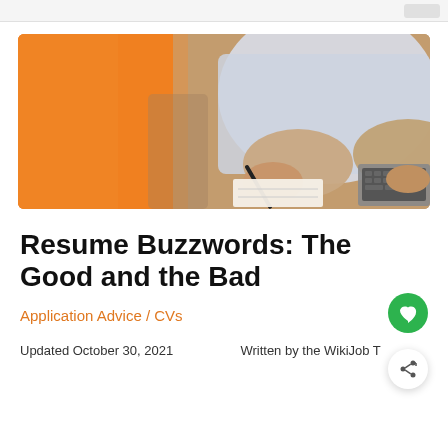[Figure (photo): Person in a white shirt writing in a notebook with a pen while working at a laptop. The background is orange/amber colored.]
Resume Buzzwords: The Good and the Bad
Application Advice / CVs
Updated October 30, 2021    Written by the WikiJob T